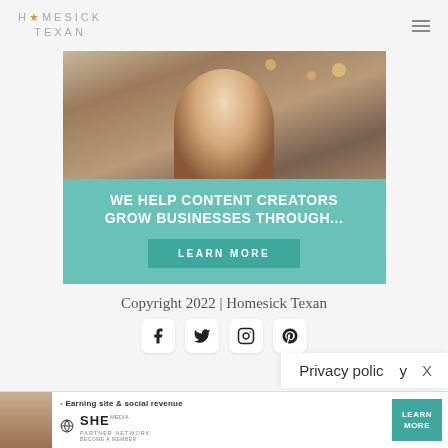HOMESICK TEXAN
[Figure (infographic): Advertisement banner with photo of smiling woman with curly hair and glasses using a tablet/laptop, over a teal background with text 'WE HELP CONTENT CREATORS GROW BUSINESSES THROUGH...' and a LEARN MORE button]
Copyright 2022 | Homesick Texan
[Figure (infographic): Social media icons row: Facebook, Twitter, Instagram, Pinterest]
Privacy policy
[Figure (infographic): SHE PARTNER NETWORK advertisement banner with woman photo, text 'Earning site & social revenue', SHE logo, and LEARN MORE button]